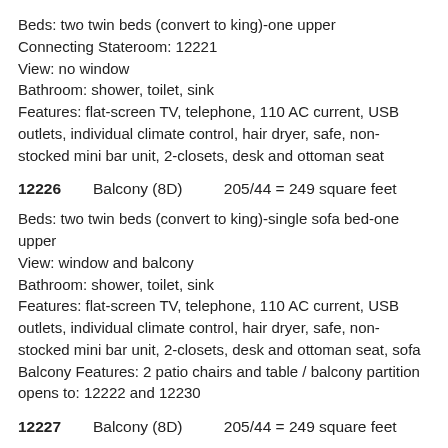Beds: two twin beds (convert to king)-one upper
Connecting Stateroom: 12221
View: no window
Bathroom: shower, toilet, sink
Features: flat-screen TV, telephone, 110 AC current, USB outlets, individual climate control, hair dryer, safe, non-stocked mini bar unit, 2-closets, desk and ottoman seat
12226    Balcony (8D)        205/44 = 249 square feet
Beds: two twin beds (convert to king)-single sofa bed-one upper
View: window and balcony
Bathroom: shower, toilet, sink
Features: flat-screen TV, telephone, 110 AC current, USB outlets, individual climate control, hair dryer, safe, non-stocked mini bar unit, 2-closets, desk and ottoman seat, sofa
Balcony Features: 2 patio chairs and table / balcony partition opens to: 12222 and 12230
12227    Balcony (8D)        205/44 = 249 square feet
Beds: two twin beds (convert to king)-single sofa bed
View: window and balcony
Bathroom: shower, toilet, sink